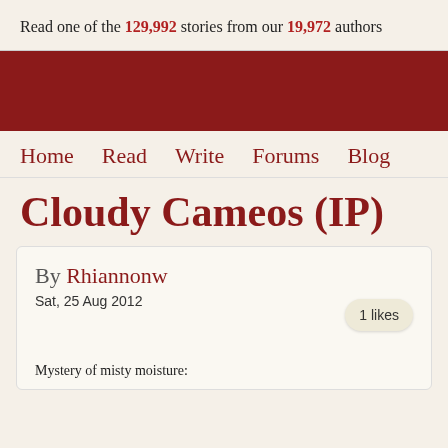Read one of the 129,992 stories from our 19,972 authors
[Figure (other): Dark red banner/header background]
Home  Read  Write  Forums  Blog
Cloudy Cameos (IP)
By Rhiannonw
Sat, 25 Aug 2012
1 likes
Mystery of misty moisture: